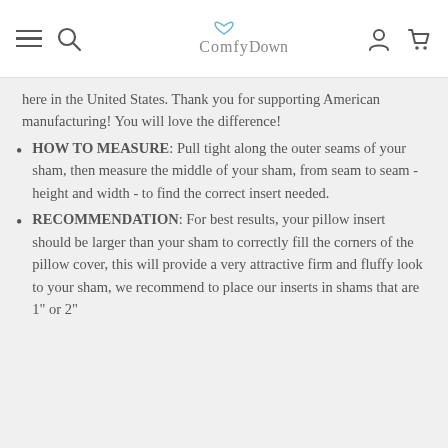ComfyDown
here in the United States. Thank you for supporting American manufacturing! You will love the difference!
HOW TO MEASURE: Pull tight along the outer seams of your sham, then measure the middle of your sham, from seam to seam - height and width - to find the correct insert needed.
RECOMMENDATION: For best results, your pillow insert should be larger than your sham to correctly fill the corners of the pillow cover, this will provide a very attractive firm and fluffy look to your sham, we recommend to place our inserts in shams that are 1" or 2"